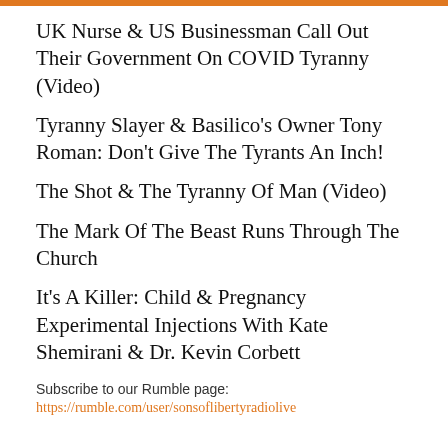UK Nurse & US Businessman Call Out Their Government On COVID Tyranny (Video)
Tyranny Slayer & Basilico's Owner Tony Roman: Don't Give The Tyrants An Inch!
The Shot & The Tyranny Of Man (Video)
The Mark Of The Beast Runs Through The Church
It's A Killer: Child & Pregnancy Experimental Injections With Kate Shemirani & Dr. Kevin Corbett
Subscribe to our Rumble page:
https://rumble.com/user/sonsoflibertyradiolive